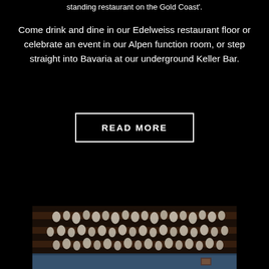standing restaurant on the Gold Coast'.
Come drink and dine in our Edelweiss restaurant floor or celebrate an event in our Alpen function room, or step straight into Bavaria at our underground Keller Bar.
READ MORE
[Figure (photo): Interior photo of a restaurant showing a wooden beam ceiling decorated with numerous ceramic or clay beer steins hanging from the beams. The walls appear to have blue paneling at the bottom. The lighting is warm and dim.]